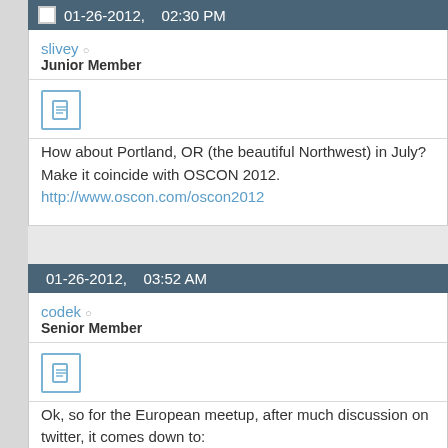01-26-2012, 02:30 PM
slivey
Junior Member
How about Portland, OR (the beautiful Northwest) in July? Make it coincide with OSCON 2012. http://www.oscon.com/oscon2012
01-26-2012, 03:52 AM
codek
Senior Member
Ok, so for the European meetup, after much discussion on twitter, it comes down to:
1. Amsterdam (Jos can help organise)
2. Edinburgh (Harris)
3. Seville (@ajandradem)
4. Greece (Not sure where, Athens or possiblyThessaloniki? @ara